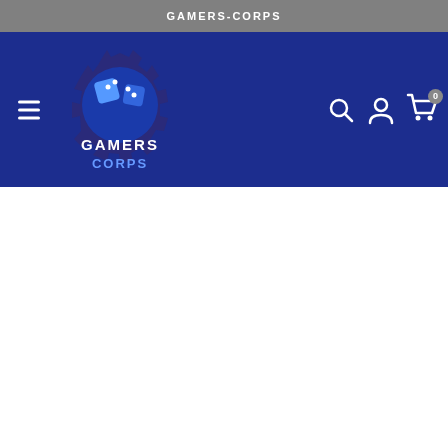GAMERS-CORPS
[Figure (logo): Gamers Corps logo: a gear with blue dice and the text GAMERS CORPS, on a dark blue navigation bar. Includes hamburger menu icon on left, and search, account, and cart icons on right with 0 badge on cart.]